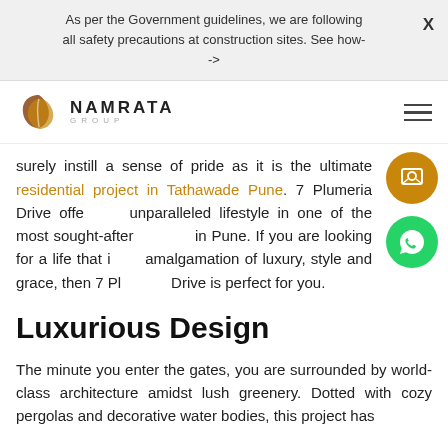As per the Government guidelines, we are following all safety precautions at construction sites. See how- ->
[Figure (logo): Namrata Group logo — stylized leaf/swirl icon in brown/gold tones, with 'NAMRATA' in bold and 'GROUP' in small caps below]
surely instill a sense of pride as it is the ultimate residential project in Tathawade Pune. 7 Plumeria Drive offers an unparalleled lifestyle in one of the most sought-after locations in Pune. If you are looking for a life that is an amalgamation of luxury, style and grace, then 7 Plumeria Drive is perfect for you.
Luxurious Design
The minute you enter the gates, you are surrounded by world-class architecture amidst lush greenery. Dotted with cozy pergolas and decorative water bodies, this project has